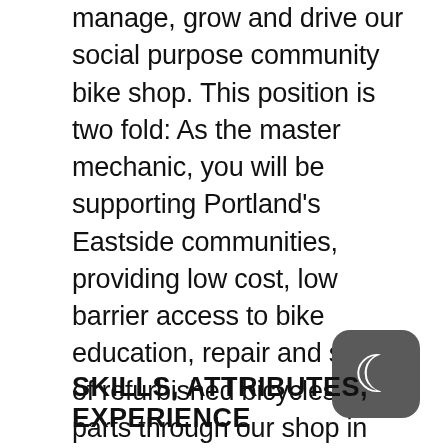manage, grow and drive our social purpose community bike shop. This position is two fold: As the master mechanic, you will be supporting Portland's Eastside communities, providing low cost, low barrier access to bike education, repair and sales of refurbished bicycles and parts through our shop in East Portland. Secondly, you will serve as a mentor and educator for homeless youth at p:ear, working with our staff to connect with and build deep, meaningful relationships. You will need to facilitate excellent mechanical and professional practices in all aspects of this position. Bike Works is located at 16126 SE Stark St. in East Portland. p:ear is located at 338 NW 6th Ave. in Downtown Portland.
SKILLS, ATTRIBUTES, EXPERIENCE